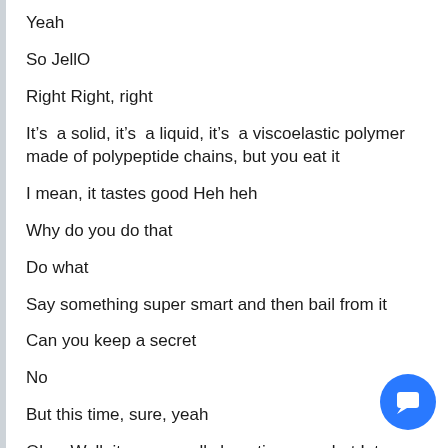Yeah
So JellO
Right Right, right
It's  a solid, it's  a liquid, it's  a viscoelastic polymer made of polypeptide chains, but you eat it
I mean, it tastes good Heh heh
Why do you do that
Do what
Say something super smart and then bail from it
Can you keep a secret
No
But this time, sure, yeah
Okay Well, it was a really long time ago, but I, too, w…